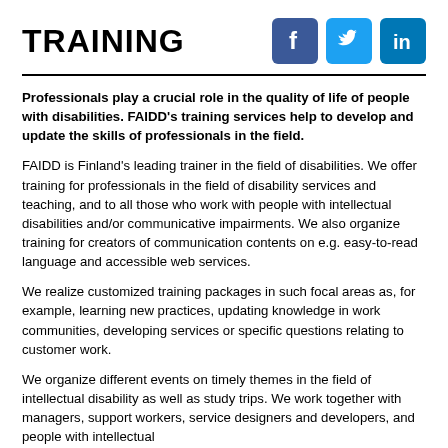TRAINING
[Figure (logo): Facebook, Twitter, and LinkedIn social media icons in blue square rounded-corner style]
Professionals play a crucial role in the quality of life of people with disabilities. FAIDD's training services help to develop and update the skills of professionals in the field.
FAIDD is Finland's leading trainer in the field of disabilities. We offer training for professionals in the field of disability services and teaching, and to all those who work with people with intellectual disabilities and/or communicative impairments. We also organize training for creators of communication contents on e.g. easy-to-read language and accessible web services.
We realize customized training packages in such focal areas as, for example, learning new practices, updating knowledge in work communities, developing services or specific questions relating to customer work.
We organize different events on timely themes in the field of intellectual disability as well as study trips. We work together with managers, support workers, service designers and developers, and people with intellectual